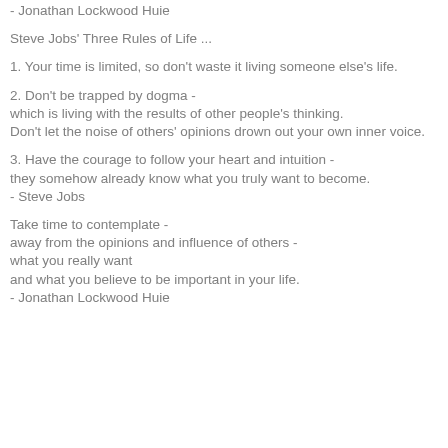- Jonathan Lockwood Huie
Steve Jobs' Three Rules of Life ...
1. Your time is limited, so don't waste it living someone else's life.
2. Don't be trapped by dogma -
which is living with the results of other people's thinking.
Don't let the noise of others' opinions drown out your own inner voice.
3. Have the courage to follow your heart and intuition -
they somehow already know what you truly want to become.
- Steve Jobs
Take time to contemplate -
away from the opinions and influence of others -
what you really want
and what you believe to be important in your life.
- Jonathan Lockwood Huie